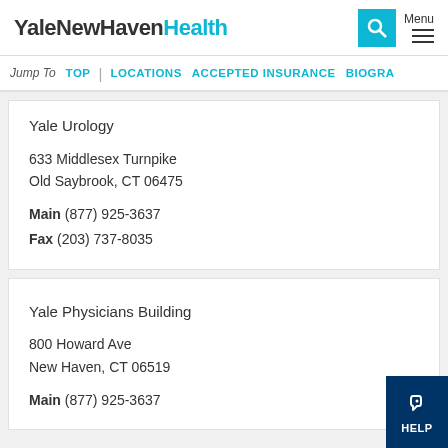YaleNewHavenHealth
Jump To  TOP  |  LOCATIONS  ACCEPTED INSURANCE  BIOGRA...
Yale Urology
633 Middlesex Turnpike
Old Saybrook, CT 06475
Main (877) 925-3637
Fax (203) 737-8035
Yale Physicians Building
800 Howard Ave
New Haven, CT 06519
Main (877) 925-3637